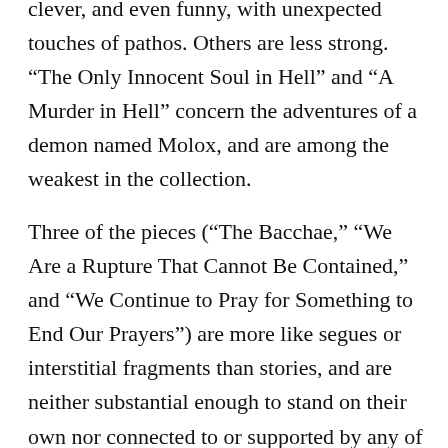clever, and even funny, with unexpected touches of pathos. Others are less strong. “The Only Innocent Soul in Hell” and “A Murder in Hell” concern the adventures of a demon named Molox, and are among the weakest in the collection.
Three of the pieces (“The Bacchae,” “We Are a Rupture That Cannot Be Contained,” and “We Continue to Pray for Something to End Our Prayers”) are more like segues or interstitial fragments than stories, and are neither substantial enough to stand on their own nor connected to or supported by any of the other pieces. Has the World Ended Yet? blends genre and literary sensibilities mostly to good effect, but would be stronger with a more streamlined selection of stories.